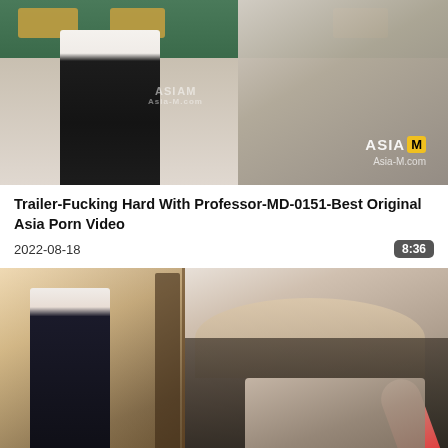[Figure (photo): Video thumbnail showing classroom scene with figures, chalkboard background, ASIA M watermark]
Trailer-Fucking Hard With Professor-MD-0151-Best Original Asia Porn Video
2022-08-18
8:36
[Figure (photo): Video thumbnail showing two scenes: left - woman in white top and black skirt near balcony; right - legs in fishnet stockings and red high heels]